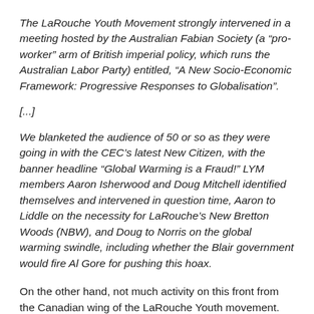The LaRouche Youth Movement strongly intervened in a meeting hosted by the Australian Fabian Society (a "pro-worker" arm of British imperial policy, which runs the Australian Labor Party) entitled, "A New Socio-Economic Framework: Progressive Responses to Globalisation".
[...]
We blanketed the audience of 50 or so as they were going in with the CEC's latest New Citizen, with the banner headline "Global Warming is a Fraud!" LYM members Aaron Isherwood and Doug Mitchell identified themselves and intervened in question time, Aaron to Liddle on the necessity for LaRouche's New Bretton Woods (NBW), and Doug to Norris on the global warming swindle, including whether the Blair government would fire Al Gore for pushing this hoax.
On the other hand, not much activity on this front from the Canadian wing of the LaRouche Youth movement. While there have been several classes held in Montreal on environmental issues, these don't seem to have inspired